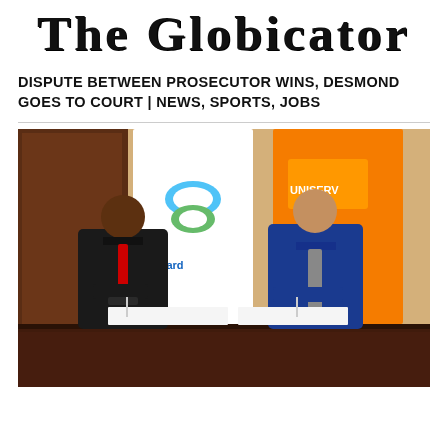The Globicator
DISPUTE BETWEEN PROSECUTOR WINS, DESMOND GOES TO COURT | NEWS, SPORTS, JOBS
[Figure (photo): Two men in suits signing documents at a desk, with Standard Chartered and UNISERV branded banners visible in the background.]